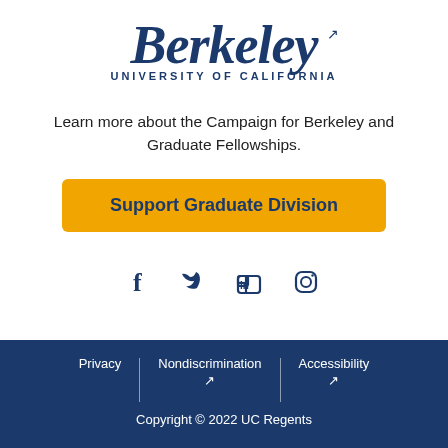[Figure (logo): UC Berkeley wordmark logo: 'Berkeley' in large dark navy italic serif font, 'UNIVERSITY OF CALIFORNIA' in small caps below, with external link icon]
Learn more about the Campaign for Berkeley and Graduate Fellowships.
Support Graduate Division
[Figure (infographic): Social media icons: Facebook (f), Twitter (bird), LinkedIn (in), Instagram (camera)]
Privacy | Nondiscrimination [external link] | Accessibility [external link]
Copyright © 2022 UC Regents